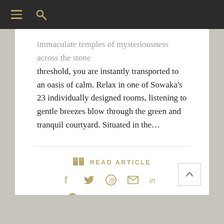☰  🔍
...immaculate temples of mysteriousness across the stone threshold, you are instantly transported to an oasis of calm. Relax in one of Sowaka's 23 individually designed rooms, listening to gentle breezes blow through the green and tranquil courtyard. Situated in the...
READ ARTICLE
f  𝕏   pinterest  mail  in
POST A COMMENT